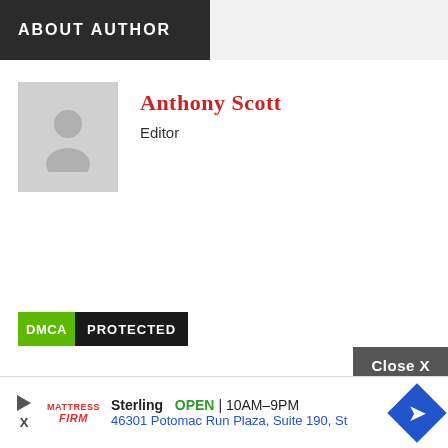ABOUT AUTHOR
Anthony Scott
Editor
[Figure (other): DMCA Protected badge with green DMCA label and dark PROTECTED label]
[Figure (screenshot): Advertisement: Mattress Firm - Sterling OPEN 10AM-9PM 46301 Potomac Run Plaza, Suite 190, St with blue diamond direction arrow icon and Close X button]